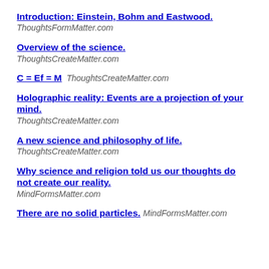Introduction: Einstein, Bohm and Eastwood. ThoughtsFormMatter.com
Overview of the science. ThoughtsCreateMatter.com
C = Ef = M ThoughtsCreateMatter.com
Holographic reality: Events are a projection of your mind. ThoughtsCreateMatter.com
A new science and philosophy of life. ThoughtsCreateMatter.com
Why science and religion told us our thoughts do not create our reality. MindFormsMatter.com
There are no solid particles. MindFormsMatter.com